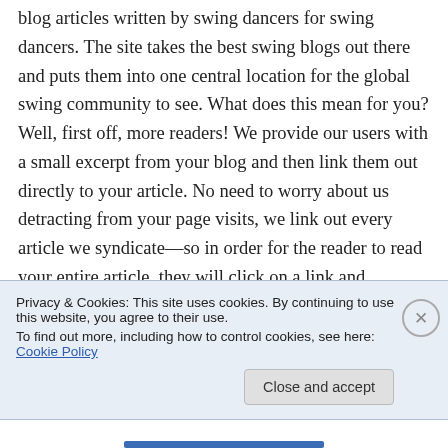blog articles written by swing dancers for swing dancers. The site takes the best swing blogs out there and puts them into one central location for the global swing community to see. What does this mean for you? Well, first off, more readers! We provide our users with a small excerpt from your blog and then link them out directly to your article. No need to worry about us detracting from your page visits, we link out every article we syndicate—so in order for the reader to read your entire article, they will click on a link and
Privacy & Cookies: This site uses cookies. By continuing to use this website, you agree to their use.
To find out more, including how to control cookies, see here: Cookie Policy
Close and accept